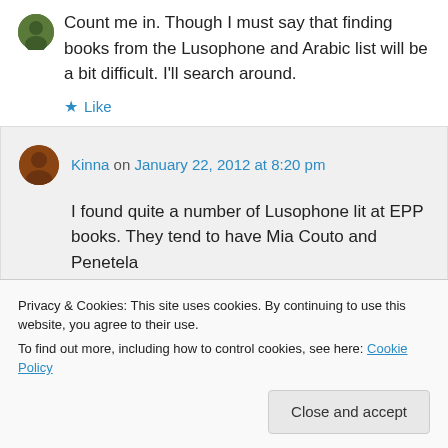Count me in. Though I must say that finding books from the Lusophone and Arabic list will be a bit difficult. I'll search around.
Like
Kinna on January 22, 2012 at 8:20 pm
I found quite a number of Lusophone lit at EPP books. They tend to have Mia Couto and Penetela
Privacy & Cookies: This site uses cookies. By continuing to use this website, you agree to their use.
To find out more, including how to control cookies, see here: Cookie Policy
Close and accept